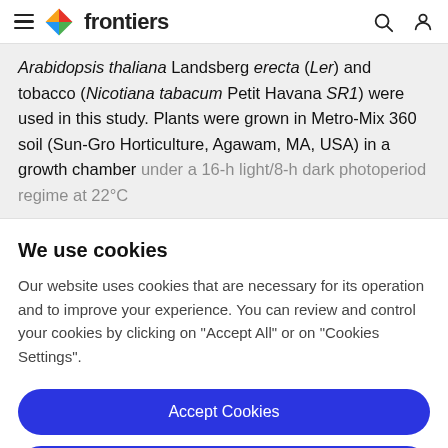frontiers
Arabidopsis thaliana Landsberg erecta (Ler) and tobacco (Nicotiana tabacum Petit Havana SR1) were used in this study. Plants were grown in Metro-Mix 360 soil (Sun-Gro Horticulture, Agawam, MA, USA) in a growth chamber under a 16-h light/8-h dark photoperiod regime at 22°C
We use cookies
Our website uses cookies that are necessary for its operation and to improve your experience. You can review and control your cookies by clicking on "Accept All" or on "Cookies Settings".
Accept Cookies
Cookies Settings